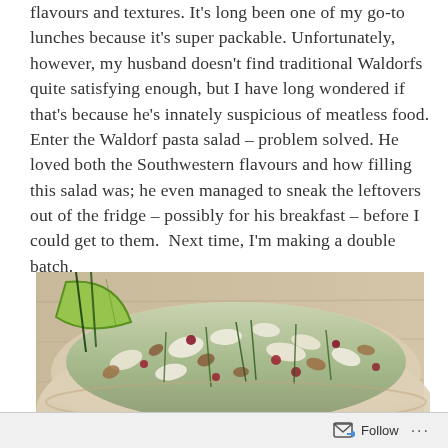flavours and textures. It's long been one of my go-to lunches because it's super packable. Unfortunately, however, my husband doesn't find traditional Waldorfs quite satisfying enough, but I have long wondered if that's because he's innately suspicious of meatless food. Enter the Waldorf pasta salad – problem solved. He loved both the Southwestern flavours and how filling this salad was; he even managed to sneak the leftovers out of the fridge – possibly for his breakfast – before I could get to them.  Next time, I'm making a double batch.
[Figure (photo): A bowl of Waldorf pasta salad with pasta, nuts, dried cranberries, chopped chives, and a lime wedge garnish on a wooden surface.]
Follow ···